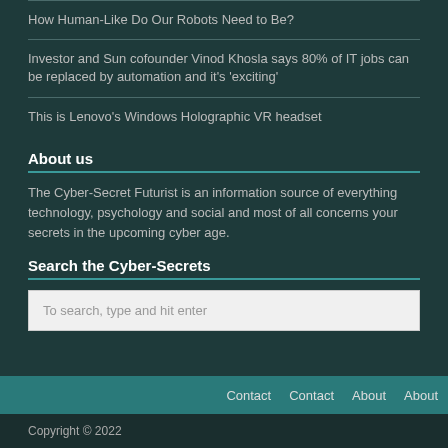How Human-Like Do Our Robots Need to Be?
Investor and Sun cofounder Vinod Khosla says 80% of IT jobs can be replaced by automation and it's 'exciting'
This is Lenovo's Windows Holographic VR headset
About us
The Cyber-Secret Futurist is an information source of everything technology, psychology and social and most of all concerns your secrets in the upcoming cyber age.
Search the Cyber-Secrets
To search, type and hit enter
Contact  Contact  About  About
Copyright © 2022